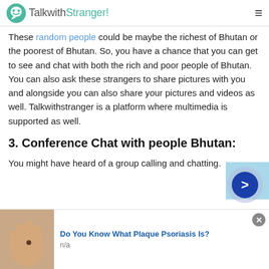TalkwithStranger!
These random people could be maybe the richest of Bhutan or the poorest of Bhutan. So, you have a chance that you can get to see and chat with both the rich and poor people of Bhutan. You can also ask these strangers to share pictures with you and alongside you can also share your pictures and videos as well. Talkwithstranger is a platform where multimedia is supported as well.
3. Conference Chat with people Bhutan:
You might have heard of a group calling and chatting.
[Figure (screenshot): Advertisement banner: image of a hand with a skin condition on the left, text 'Do You Know What Plaque Psoriasis Is?' and 'n/a' on the right, with a close button and a navigation arrow button]